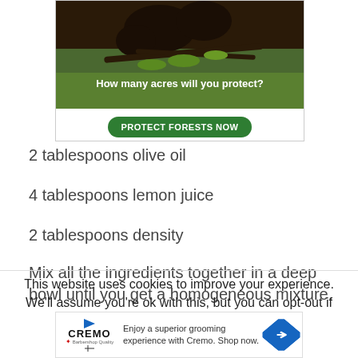[Figure (photo): Advertisement banner showing monkeys on branches with text 'How many acres will you protect?' and a green 'PROTECT FORESTS NOW' button]
2 tablespoons olive oil
4 tablespoons lemon juice
2 tablespoons density
Mix all the ingredients together in a deep bowl until you get a homogeneous mixture.
This website uses cookies to improve your experience. We'll assume you're ok with this, but you can opt-out if you wish.
[Figure (other): Cremo advertisement: 'Enjoy a superior grooming experience with Cremo. Shop now.' with Cremo logo and blue arrow button]